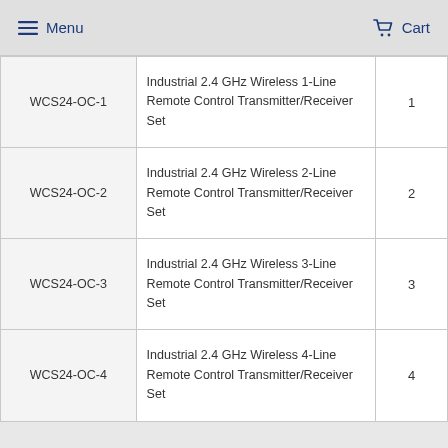Menu  Cart
| SKU | Description | Lines |
| --- | --- | --- |
| WCS24-OC-1 | Industrial 2.4 GHz Wireless 1-Line Remote Control Transmitter/Receiver Set | 1 |
| WCS24-OC-2 | Industrial 2.4 GHz Wireless 2-Line Remote Control Transmitter/Receiver Set | 2 |
| WCS24-OC-3 | Industrial 2.4 GHz Wireless 3-Line Remote Control Transmitter/Receiver Set | 3 |
| WCS24-OC-4 | Industrial 2.4 GHz Wireless 4-Line Remote Control Transmitter/Receiver Set | 4 |